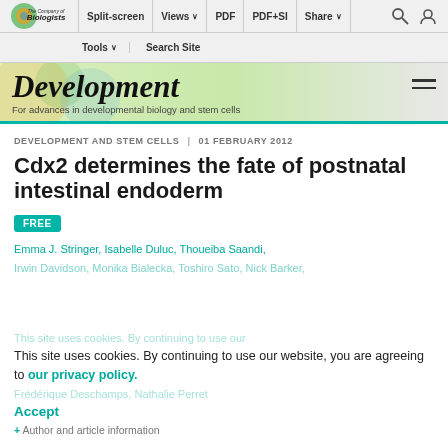Split-screen | Views | PDF | PDF+SI | Share | Tools | Search Site
[Figure (logo): The Company of Biologists logo with journal name Development]
Development — For advances in developmental biology and stem cells
DEVELOPMENT AND STEM CELLS | 01 FEBRUARY 2012
Cdx2 determines the fate of postnatal intestinal endoderm
FREE
Emma J. Stringer, Isabelle Duluc, Thoueiba Saandi, Irwin Davidson, Monika Bialecka, Toshiro Sato, Nick Barker, Nicole A. Wright, Ian Noel Faux, Frédérique Deschamps, Nathalie Perret
This site uses cookies. By continuing to use our website, you are agreeing to our privacy policy. Accept
+ Author and article information